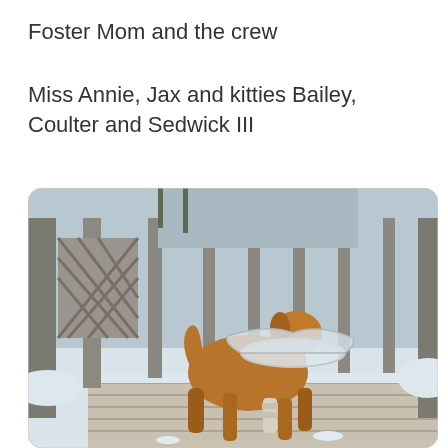Foster Mom and the crew
Miss Annie, Jax and kitties Bailey, Coulter and Sedwick III
[Figure (photo): A golden/tan dog wearing a clear plastic cone collar (Elizabethan collar) and a bandage on one front leg, standing on a snow-covered wooden deck. The background shows a wooden railing with lattice and snow-covered trees.]